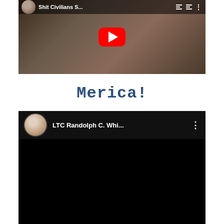[Figure (screenshot): YouTube video thumbnail showing two people, with a red YouTube play button overlay. Top bar shows avatar, title 'Shit Civilians S...', playlist and more icons.]
Merica!
[Figure (screenshot): YouTube video embed with black content area. Top bar shows circular avatar of a man in white shirt, title 'LTC Randolph C. Whi...', and three-dot menu icon.]